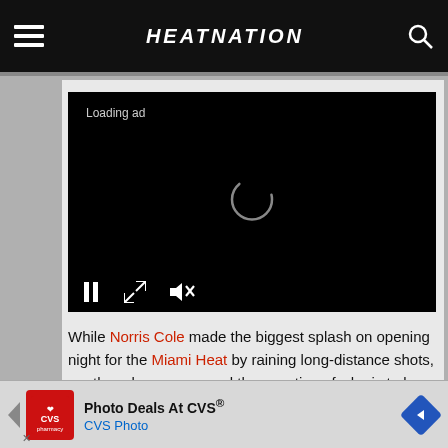HEATNATION
[Figure (screenshot): Video player with black background showing 'Loading ad' text and a circular spinner, with playback controls (pause, fullscreen, mute) at the bottom]
While Norris Cole made the biggest splash on opening night for the Miami Heat by raining long-distance shots, another player answered the question of who is to be the team's new offensive centerpiece.
[Figure (screenshot): Advertisement banner for 'Photo Deals At CVS®' by CVS Photo, with CVS logo on the left and a blue navigation arrow on the right]